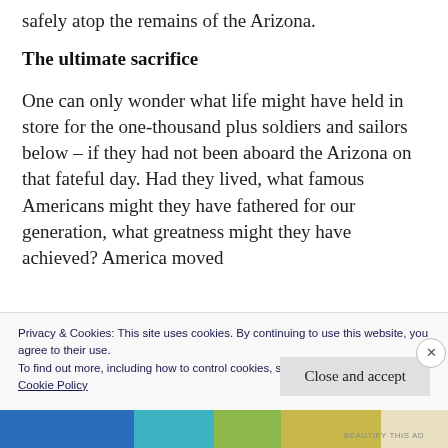safely atop the remains of the Arizona.
The ultimate sacrifice
One can only wonder what life might have held in store for the one-thousand plus soldiers and sailors below – if they had not been aboard the Arizona on that fateful day. Had they lived, what famous Americans might they have fathered for our generation, what greatness might they have achieved? America moved
Privacy & Cookies: This site uses cookies. By continuing to use this website, you agree to their use.
To find out more, including how to control cookies, see here:
Cookie Policy
Close and accept